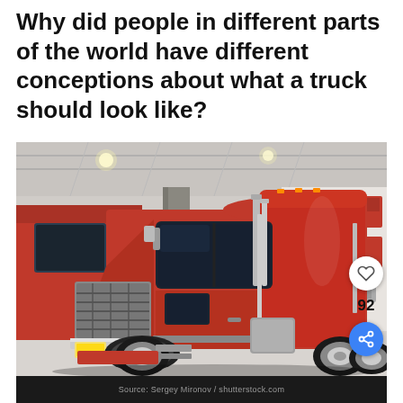Why did people in different parts of the world have different conceptions about what a truck should look like?
[Figure (photo): A large red Peterbilt semi-truck cab on display inside an exhibition hall. The truck features chrome trim, a large front grille, and a sleeper cab. Additional trucks are visible in the background on the right. A blue circular like button showing 92 likes and a share button are overlaid on the right side of the image.]
Source: Sergey Mironov / shutterstock.com